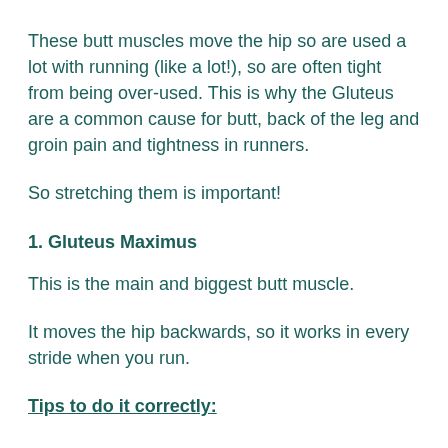These butt muscles move the hip so are used a lot with running (like a lot!), so are often tight from being over-used. This is why the Gluteus are a common cause for butt, back of the leg and groin pain and tightness in runners.
So stretching them is important!
1. Gluteus Maximus
This is the main and biggest butt muscle.
It moves the hip backwards, so it works in every stride when you run.
Tips to do it correctly: